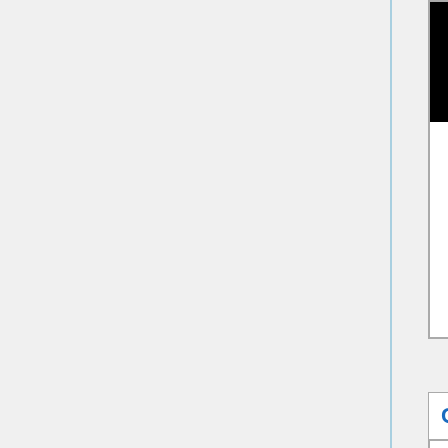[Figure (illustration): Spell icon on black background with red, orange, and green swirl design]
|  | Property | Value |
| --- | --- | --- |
| [icon] | Range | Melee/Person... |
|  | Cooldown | 30 |
|  | Travel Speed | Instantaneou... |
|  | Use Speed | - |
|  | Description | Increases your spell critical damage multiplier by [20]60% cTSpD... The multiplier will increase with your Spellpower. |
Corrupted Negation
|  | Game Version |  |
| --- | --- | --- |
|  | Game Version | - |